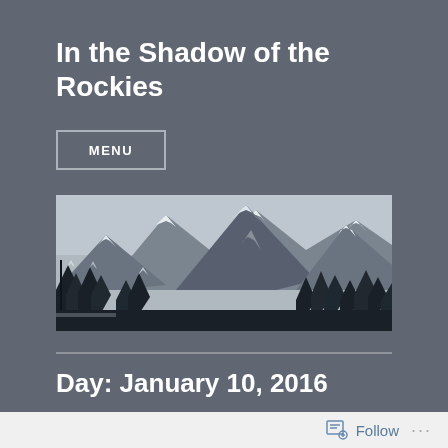In the Shadow of the Rockies
MENU
[Figure (photo): Panoramic winter mountain scene with snow-covered Rocky Mountains and evergreen pine trees in the foreground, overcast sky.]
Day: January 10, 2016
Follow ...